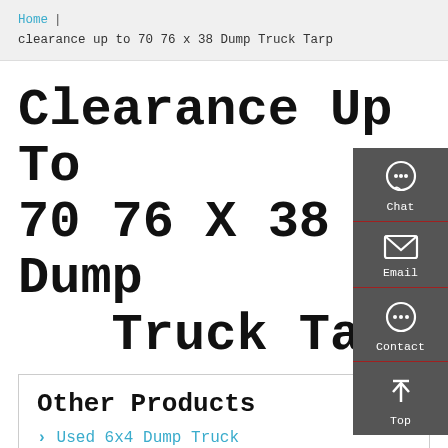Home | clearance up to 70 76 x 38 Dump Truck Tarp
Clearance Up To 70 76 X 38 Dump Truck Tarp
Other Products
Used 6x4 Dump Truck